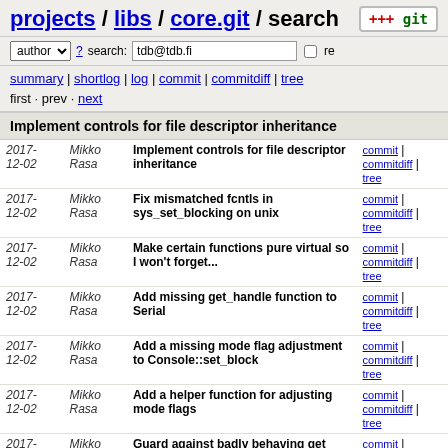projects / libs / core.git / search
author ? search: tdb@tdb.fi re
summary | shortlog | log | commit | commitdiff | tree
first · prev · next
Implement controls for file descriptor inheritance
| Date | Author | Message | Links |
| --- | --- | --- | --- |
| 2017-12-02 | Mikko Rasa | Implement controls for file descriptor inheritance | commit | commitdiff | tree |
| 2017-12-02 | Mikko Rasa | Fix mismatched fcntls in sys_set_blocking on unix | commit | commitdiff | tree |
| 2017-12-02 | Mikko Rasa | Make certain functions pure virtual so I won't forget... | commit | commitdiff | tree |
| 2017-12-02 | Mikko Rasa | Add missing get_handle function to Serial | commit | commitdiff | tree |
| 2017-12-02 | Mikko Rasa | Add a missing mode flag adjustment to Console::set_block | commit | commitdiff | tree |
| 2017-12-02 | Mikko Rasa | Add a helper function for adjusting mode flags | commit | commitdiff | tree |
| 2017-01-08 | Mikko Rasa | Guard against badly behaving get functions in getline | commit | commitdiff | tree |
| 2017-01-08 | Mikko Rasa | Return -1 from Slice::get at eof | commit | commitdiff | tree |
| 2017-01-08 | Mikko Rasa | Pthread_setname_np is a GNU | commit | commitdiff |